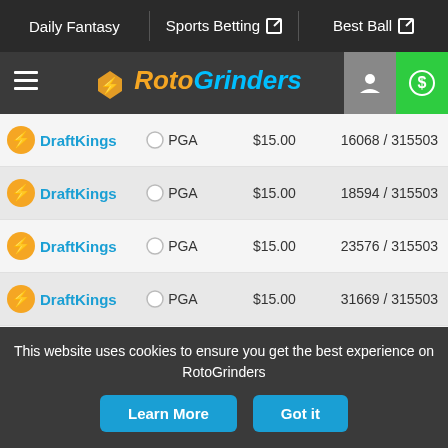Daily Fantasy | Sports Betting | Best Ball
[Figure (logo): RotoGrinders logo with lightning bolt icon, orange 'Roto' and blue 'Grinders' text]
| Site | Sport | Entry Fee | Entries |
| --- | --- | --- | --- |
| DraftKings | PGA | $15.00 | 16068 / 315503 |
| DraftKings | PGA | $15.00 | 18594 / 315503 |
| DraftKings | PGA | $15.00 | 23576 / 315503 |
| DraftKings | PGA | $15.00 | 31669 / 315503 |
| DraftKings | PGA | $15.00 | 41661 / 315503 |
| DraftKings | PGA | $15.00 | 53738 / 315503 |
| DraftKings | PGA | $15.00 | 63980 / 315503 |
| DraftKings | PGA | $15.00 | 6098 / 315503 |
This website uses cookies to ensure you get the best experience on RotoGrinders
Learn More | Got it